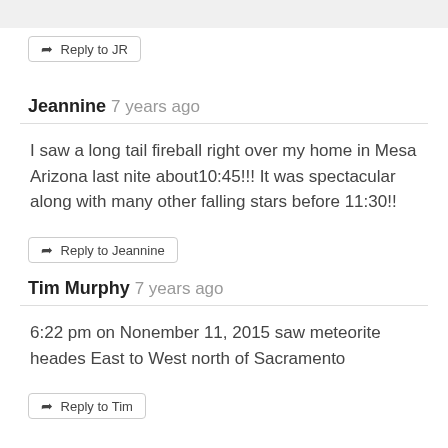Reply to JR
Jeannine 7 years ago
I saw a long tail fireball right over my home in Mesa Arizona last nite about10:45!!! It was spectacular along with many other falling stars before 11:30!!
Reply to Jeannine
Tim Murphy 7 years ago
6:22 pm on Nonember 11, 2015 saw meteorite heades East to West north of Sacramento
Reply to Tim